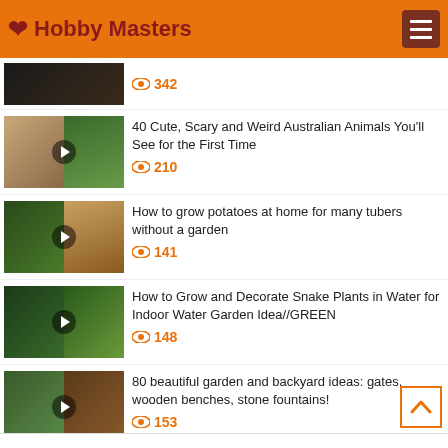Hobby Masters
342
40 Cute, Scary and Weird Australian Animals You'll See for the First Time
210
How to grow potatoes at home for many tubers without a garden
141
How to Grow and Decorate Snake Plants in Water for Indoor Water Garden Idea//GREEN
148
80 beautiful garden and backyard ideas: gates, wooden benches, stone fountains!
153